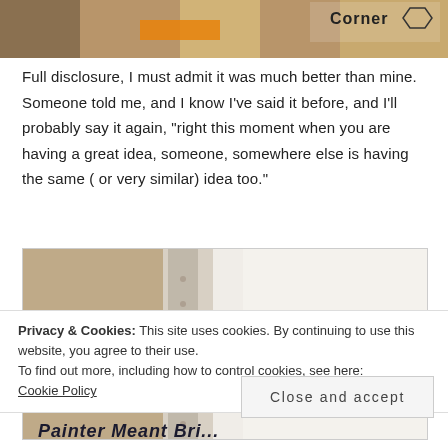[Figure (photo): Top cropped photo showing a partial image with a logo/text 'Corner' visible at top right, appears to be a crafting or DIY related image]
Full disclosure, I must admit it was much better than mine. Someone told me, and I know I've said it before, and I'll probably say it again, "right this moment when you are having a great idea, someone, somewhere else is having the same ( or very similar) idea too."
[Figure (photo): A close-up photo of what appears to be a paint roller or brush texture, showing tan/beige color on left and white/light texture on right]
Privacy & Cookies: This site uses cookies. By continuing to use this website, you agree to their use.
To find out more, including how to control cookies, see here: Cookie Policy
Close and accept
Painter Meant Bri...